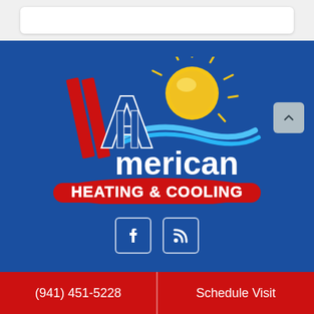[Figure (logo): All American Heating & Cooling company logo on blue background with sun graphic and red/white/blue color scheme]
[Figure (infographic): Social media icons: Facebook and RSS feed icons in white on blue background]
(941) 451-5228
Schedule Visit